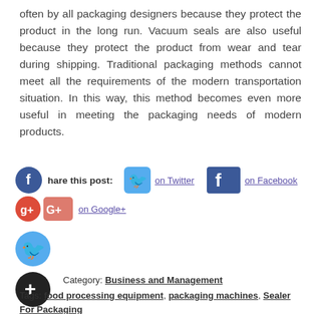often by all packaging designers because they protect the product in the long run. Vacuum seals are also useful because they protect the product from wear and tear during shipping. Traditional packaging methods cannot meet all the requirements of the modern transportation situation. In this way, this method becomes even more useful in meeting the packaging needs of modern products.
[Figure (infographic): Social sharing icons and links: Facebook circle icon with 'Share this post:' label, Twitter bird icon with 'on Twitter' link, Facebook rectangular icon with 'on Facebook' link, Google+ circle and rectangular icons with 'on Google+' link, large Twitter bird circle icon, large dark circle plus icon]
Category: Business and Management
Tags: food processing equipment, packaging machines, Sealer For Packaging